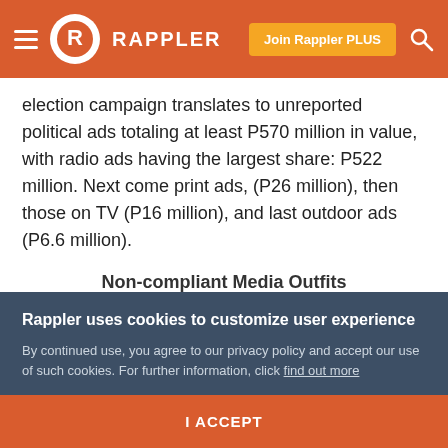Rappler — Join Rappler PLUS
election campaign translates to unreported political ads totaling at least P570 million in value, with radio ads having the largest share: P522 million. Next come print ads, (P26 million), then those on TV (P16 million), and last outdoor ads (P6.6 million).
Non-compliant Media Outfits based on Nielsen Media and Ad Contract comparison*
| Radio (38 stations) |
| --- |
Rappler uses cookies to customize user experience
By continued use, you agree to our privacy policy and accept our use of such cookies. For further information, click find out more
I ACCEPT